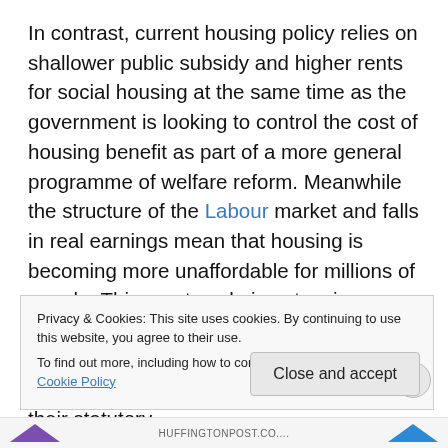In contrast, current housing policy relies on shallower public subsidy and higher rents for social housing at the same time as the government is looking to control the cost of housing benefit as part of a more general programme of welfare reform. Meanwhile the structure of the Labour market and falls in real earnings mean that housing is becoming more unaffordable for millions of people. This creates obvious tensions: contradictions between the policies of different government departments; problems for local authorities in carrying out their statutory
Privacy & Cookies: This site uses cookies. By continuing to use this website, you agree to their use.
To find out more, including how to control cookies, see here: Cookie Policy